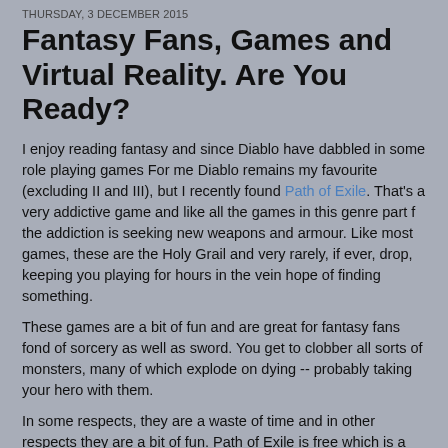THURSDAY, 3 DECEMBER 2015
Fantasy Fans, Games and Virtual Reality. Are You Ready?
I enjoy reading fantasy and since Diablo have dabbled in some role playing games For me Diablo remains my favourite (excluding II and III), but I recently found Path of Exile. That's a very addictive game and like all the games in this genre part f the addiction is seeking new weapons and armour. Like most games, these are the Holy Grail and very rarely, if ever, drop, keeping you playing for hours in the vein hope of finding something.
These games are a bit of fun and are great for fantasy fans fond of sorcery as well as sword. You get to clobber all sorts of monsters, many of which explode on dying -- probably taking your hero with them.
In some respects, they are a waste of time and in other respects they are a bit of fun. Path of Exile is free which is a blessing, although you can buy things like Bloody Footprints. Why? I'm not too sure.
With the advent of virtual reality these sorts of games are likely to mushroom. However, what will it be like to play the main character and, of course, die? On